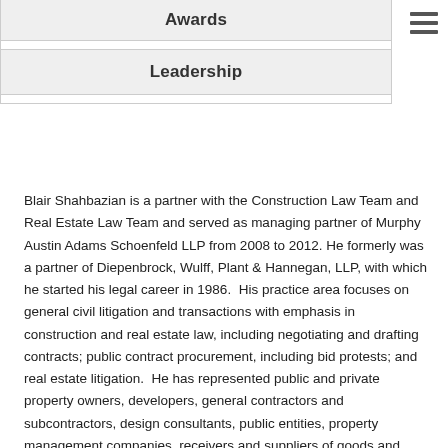Awards
Leadership
Blair Shahbazian is a partner with the Construction Law Team and Real Estate Law Team and served as managing partner of Murphy Austin Adams Schoenfeld LLP from 2008 to 2012. He formerly was a partner of Diepenbrock, Wulff, Plant & Hannegan, LLP, with which he started his legal career in 1986.  His practice area focuses on general civil litigation and transactions with emphasis in construction and real estate law, including negotiating and drafting contracts; public contract procurement, including bid protests; and real estate litigation.  He has represented public and private property owners, developers, general contractors and subcontractors, design consultants, public entities, property management companies, receivers and suppliers of goods and services.